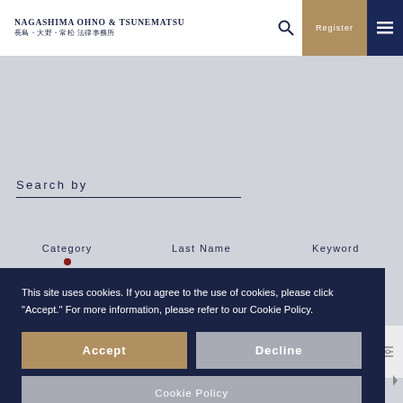NAGASHIMA OHNO & TSUNEMATSU 長島・大野・常松 法律事務所
Search by
Category    Last Name    Keyword
This site uses cookies. If you agree to the use of cookies, please click "Accept." For more information, please refer to our Cookie Policy.
Accept
Decline
Cookie Policy